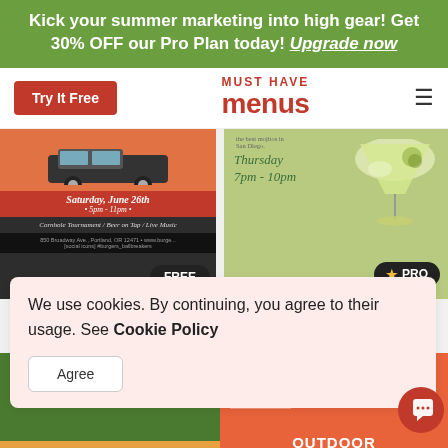Kick your summer marketing into high gear! Get 30% OFF our Pro Plan today! Upgrade now
Try It Free
MUST HAVE menus
[Figure (screenshot): Two event flyer previews: left shows a dark-background flyer with orange van graphic, 'Saturday, June 26th 5pm - 11pm', 'Cornhole Tournament / Beer on Tap / Live Music' with FREE badge; right shows a green background cocktail flyer with 'Thursday 7pm - 10pm' with PRO badge]
We use cookies. By continuing, you agree to their usage. See Cookie Policy
Agree
[Figure (screenshot): Two more flyer previews at bottom: left is a dark green flyer with orange bar 'Check out our Happy Hour Menu at our place!'; right is an orange/coral flyer with large W monogram and text OUTDOOR]